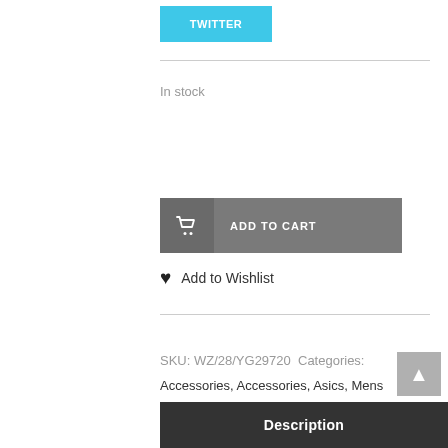[Figure (other): Twitter share button — teal/cyan rectangle with white bold text 'TWITTER']
In stock
[Figure (other): Add to Cart button — dark grey rectangle with shopping cart icon and bold white text 'ADD TO CART']
♥ Add to Wishlist
SKU: WZ/28/YG29720 Categories: Accessories, Accessories, Asics, Mens Clothing, Womens Clothing Tag: Black
Description